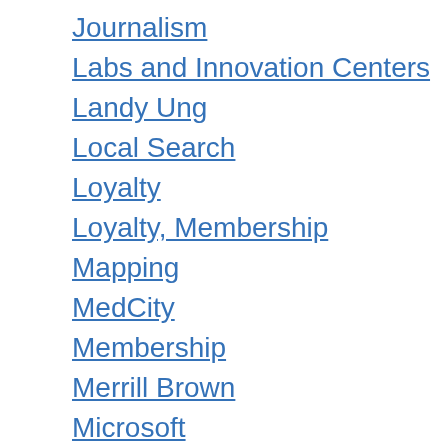Journalism
Labs and Innovation Centers
Landy Ung
Local Search
Loyalty
Loyalty, Membership
Mapping
MedCity
Membership
Merrill Brown
Microsoft
Misc
Mobile